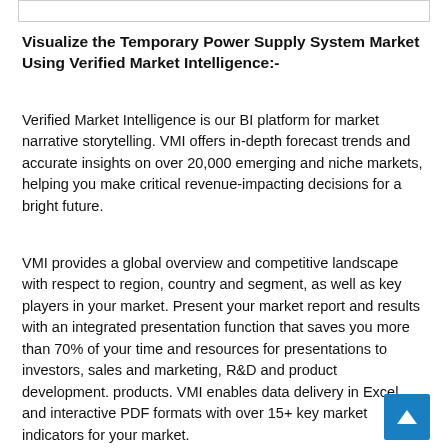Visualize the Temporary Power Supply System Market Using Verified Market Intelligence:-
Verified Market Intelligence is our BI platform for market narrative storytelling. VMI offers in-depth forecast trends and accurate insights on over 20,000 emerging and niche markets, helping you make critical revenue-impacting decisions for a bright future.
VMI provides a global overview and competitive landscape with respect to region, country and segment, as well as key players in your market. Present your market report and results with an integrated presentation function that saves you more than 70% of your time and resources for presentations to investors, sales and marketing, R&D and product development. products. VMI enables data delivery in Excel and interactive PDF formats with over 15+ key market indicators for your market.